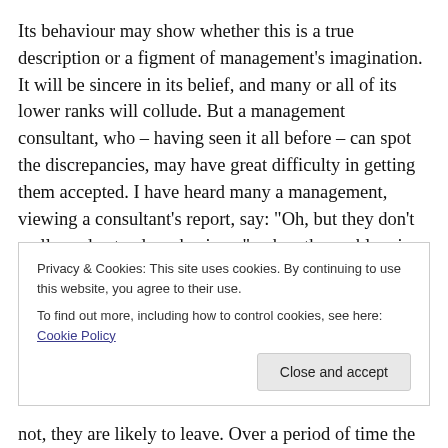Its behaviour may show whether this is a true description or a figment of management’s imagination. It will be sincere in its belief, and many or all of its lower ranks will collude. But a management consultant, who – having seen it all before – can spot the discrepancies, may have great difficulty in getting them accepted. I have heard many a management, viewing a consultant’s report, say: “Oh, but they don’t really understand our business”, when the problem is precisely that in this respect the consultant
Privacy & Cookies: This site uses cookies. By continuing to use this website, you agree to their use. To find out more, including how to control cookies, see here: Cookie Policy
not, they are likely to leave. Over a period of time the